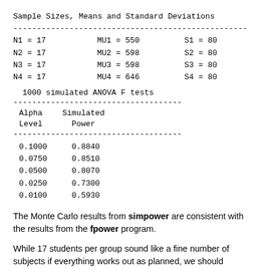|  | N | MU | S |
| --- | --- | --- | --- |
| N1 = 17 | MU1 = 550 | S1 = 80 |
| N2 = 17 | MU2 = 598 | S2 = 80 |
| N3 = 17 | MU3 = 598 | S3 = 80 |
| N4 = 17 | MU4 = 646 | S4 = 80 |
| Alpha Level | Simulated Power |
| --- | --- |
| 0.1000 | 0.8840 |
| 0.0750 | 0.8510 |
| 0.0500 | 0.8070 |
| 0.0250 | 0.7300 |
| 0.0100 | 0.5930 |
The Monte Carlo results from simpower are consistent with the results from the fpower program.
While 17 students per group sound like a fine number of subjects if everything works out as planned, we should